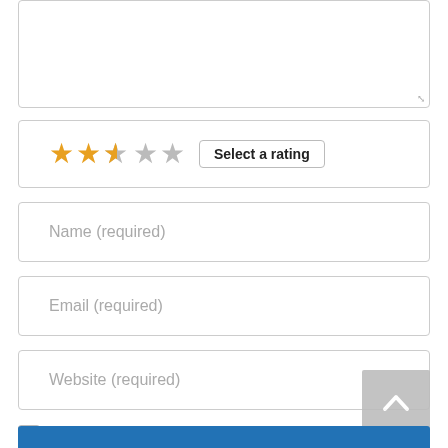[Figure (screenshot): Textarea input box (empty), partially visible at top of page]
[Figure (screenshot): Star rating widget showing 2.5 out of 5 stars (2 filled orange, 1 half orange/grey, 2 grey) with a 'Select a rating' button]
Name (required)
Email (required)
Website (required)
Save my name, email, and website in this browser for the next time I comment.